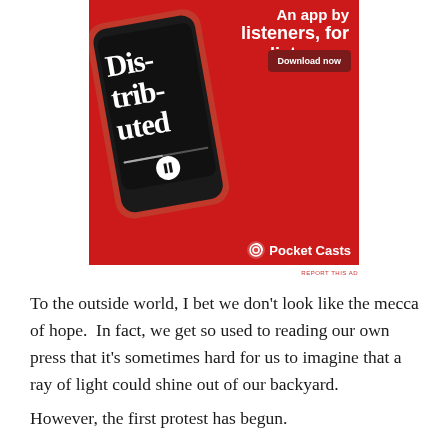[Figure (illustration): Pocket Casts app advertisement on red background showing a smartphone with podcast playing, text reading 'An app by listeners, for listeners.' with a 'Download now' button and Pocket Casts logo]
REPORT THIS AD
To the outside world, I bet we don’t look like the mecca of hope.  In fact, we get so used to reading our own press that it’s sometimes hard for us to imagine that a ray of light could shine out of our backyard.
However, the first protest has begun.